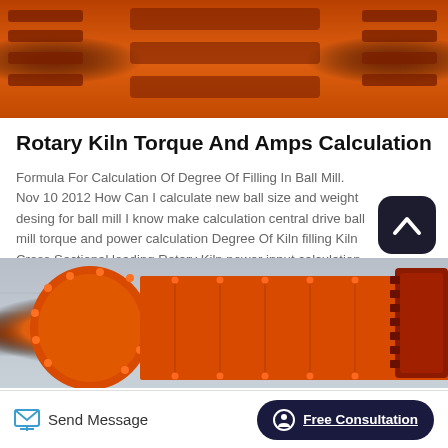[Figure (photo): Orange industrial machinery (rotary kiln/ball mill equipment) — top partial view showing orange metal frame and gear components]
Rotary Kiln Torque And Amps Calculation
Formula For Calculation Of Degree Of Filling In Ball Mill. Nov 10 2012 How Can I calculate new ball size and weight desing for ball mill I know make calculation central drive ball mill torque and power calculation Degree Of Kiln filling Kiln Cross Sectional loading Rotary Kiln power input calculation. View Details Send Enqui…
[Figure (photo): Orange industrial ball mill equipment in factory setting — large cylindrical orange metal drum with bolted flanges and gear ring, industrial shed background]